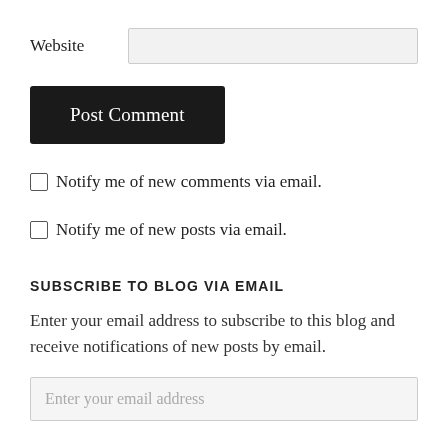Website
Post Comment
Notify me of new comments via email.
Notify me of new posts via email.
SUBSCRIBE TO BLOG VIA EMAIL
Enter your email address to subscribe to this blog and receive notifications of new posts by email.
Enter your email address